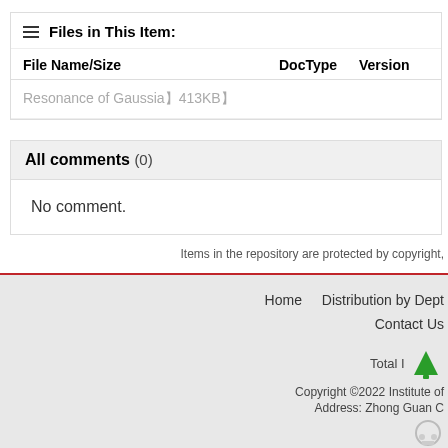Files in This Item:
| File Name/Size | DocType | Version |
| --- | --- | --- |
| Resonance of Gaussia】413KB】 |  |  |
All comments (0)
No comment.
Items in the repository are protected by copyright,
Home   Distribution by Dept   Contact Us   Total I...   Copyright ©2022 Institute of...   Address: Zhong Guan C...